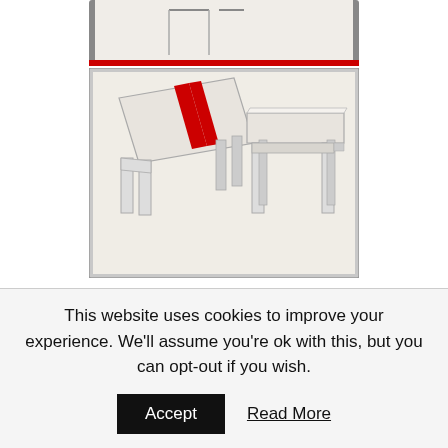[Figure (illustration): Partial top view of a table illustration (cropped) showing top edge of a diagram with grey background.]
[Figure (illustration): 3D illustration of two tables side by side. The left table has two vertical red stripes on its surface and is shown at an angle. The right table is shown upright from slightly above. The scene demonstrates a visual illusion about table surface lengths.]
When you draw two lines then line them up, you then discover they indeed are the same length.  Using a purely visual approach we would easily make an irrational choice on which table was
This website uses cookies to improve your experience. We'll assume you're ok with this, but you can opt-out if you wish.
Accept
Read More